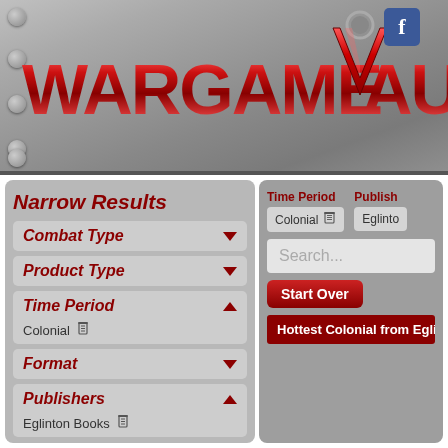[Figure (screenshot): Wargame Vault website header with logo on metallic background, Facebook icon top right]
Narrow Results
Combat Type (dropdown, collapsed)
Product Type (dropdown, collapsed)
Time Period (dropdown, expanded) — Colonial (with delete icon)
Format (dropdown, collapsed)
Publishers (dropdown, expanded) — Eglinton Books (with delete icon)
Time Period: Colonial | Publisher: Eglinton (filter tags)
Search...
Start Over
Hottest Colonial from Eglinton